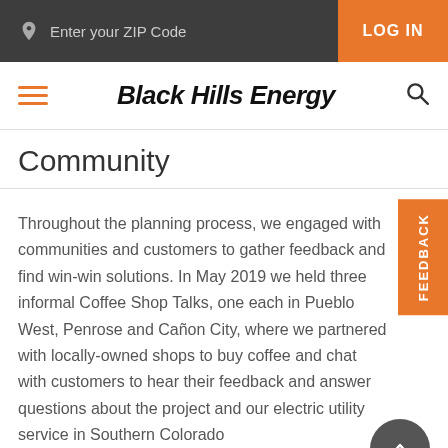Enter your ZIP Code | LOG IN
Black Hills Energy
Community
Throughout the planning process, we engaged with communities and customers to gather feedback and find win-win solutions. In May 2019 we held three informal Coffee Shop Talks, one each in Pueblo West, Penrose and Cañon City, where we partnered with locally-owned shops to buy coffee and chat with customers to hear their feedback and answer questions about the project and our electric utility service in Southern Colorado